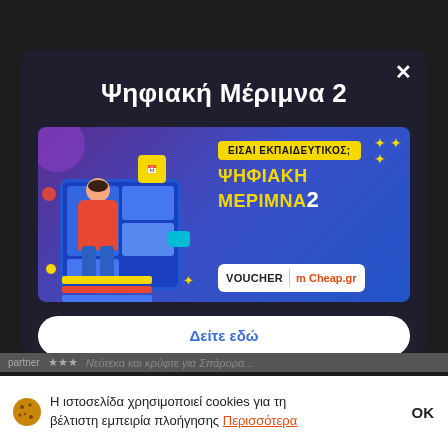Ψηφιακή Μέριμνα 2
[Figure (illustration): Promotional banner for 'Ψηφιακή Μέριμνα 2' program with purple/blue gradient background. Left side shows a 3D illustration of a man sitting on books in front of a screen with video call participants. Right side shows yellow tag 'ΕΙΣΑΙ ΕΚΠΑΙΔΕΥΤΙΚΟΣ;', program title 'ΨΗΦΙΑΚΗ ΜΕΡΙΜΝΑ 2' in yellow, and voucher logo with Cheap.gr branding. Sparkle stars decorations visible.]
Δείτε εδώ
Η ιστοσελίδα χρησιμοποιεί cookies για τη βέλτιστη εμπειρία πλοήγησης Περισσότερα